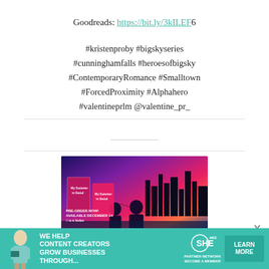Goodreads: https://bit.ly/3kILEF6
#kristenproby #bigskyseries #cunninghamfalls #heroesofbigsky #ContemporaryRomance #Smalltown #ForcedProximity #Alphahero #valentineprlm @valentine_pr_
[Figure (photo): Book advertisement image showing two silhouetted figures against a pink/purple city skyline background at night with book covers for 'My Summer in Seoul' displayed. Pre-order text visible at bottom left with retailer logos.]
[Figure (infographic): Teal advertisement banner reading 'WE HELP CONTENT CREATORS GROW BUSINESSES THROUGH...' with SHE Media Partner Network logo and 'LEARN MORE' button. Female figure shown on left.]